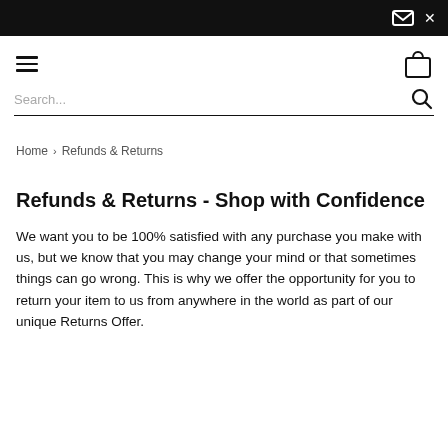Home > Refunds & Returns
Refunds & Returns - Shop with Confidence
We want you to be 100% satisfied with any purchase you make with us, but we know that you may change your mind or that sometimes things can go wrong. This is why we offer the opportunity for you to return your item to us from anywhere in the world as part of our unique Returns Offer.